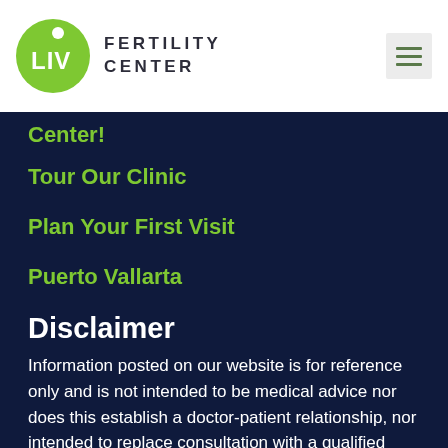[Figure (logo): LIV Fertility Center logo with green circle containing LIV text and person icon, with FERTILITY CENTER text to the right]
Center!
Tour Our Clinic
Plan Your First Visit
Puerto Vallarta
Disclaimer
Information posted on our website is for reference only and is not intended to be medical advice nor does this establish a doctor-patient relationship, nor intended to replace consultation with a qualified medical provider.